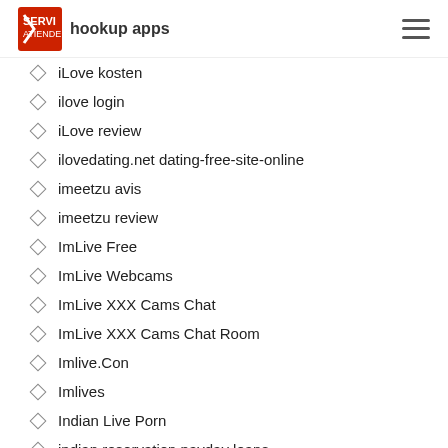SERVI ATIENDE — hookup apps
iLove kosten
ilove login
iLove review
ilovedating.net dating-free-site-online
imeetzu avis
imeetzu review
ImLive Free
ImLive Webcams
ImLive XXX Cams Chat
ImLive XXX Cams Chat Room
Imlive.Con
Imlives
Indian Live Porn
indian reservation payday loans
Indiana Online Bad Credit
Indiana Online Payday Loans